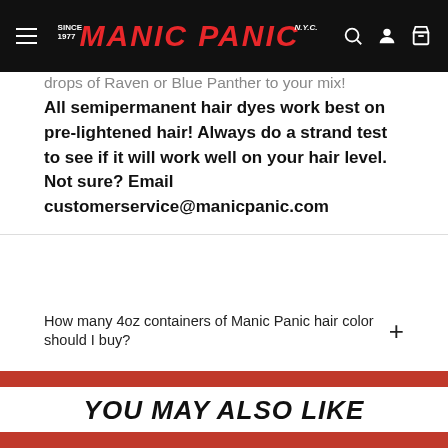MANIC PANIC
drops of Raven or Blue Panther to your mix! All semipermanent hair dyes work best on pre-lightened hair! Always do a strand test to see if it will work well on your hair level. Not sure? Email customerservice@manicpanic.com
How many 4oz containers of Manic Panic hair color should I buy?
Details:
[Figure (other): Social share buttons: Twitter, Facebook, Pinterest, Email]
YOU MAY ALSO LIKE